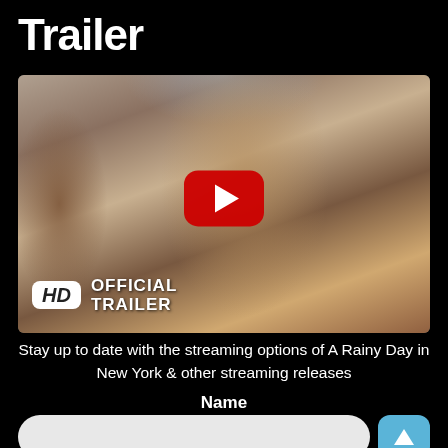Trailer
[Figure (screenshot): YouTube video thumbnail for 'A Rainy Day in New York' Official Trailer in HD, showing a young male actor with dark curly hair, with a red YouTube play button overlay and HD OFFICIAL TRAILER badge in the lower left.]
Stay up to date with the streaming options of A Rainy Day in New York & other streaming releases
Name
[Figure (other): Text input field with a light grey rounded rectangle and a blue rounded submit button with an upward arrow icon.]